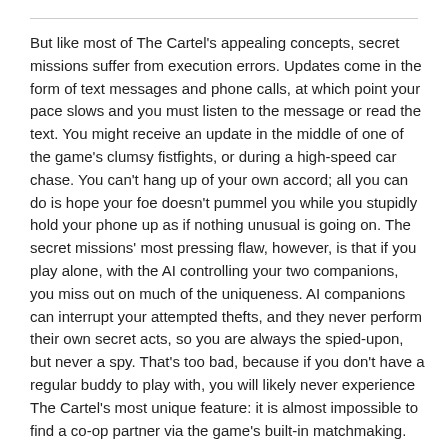But like most of The Cartel's appealing concepts, secret missions suffer from execution errors. Updates come in the form of text messages and phone calls, at which point your pace slows and you must listen to the message or read the text. You might receive an update in the middle of one of the game's clumsy fistfights, or during a high-speed car chase. You can't hang up of your own accord; all you can do is hope your foe doesn't pummel you while you stupidly hold your phone up as if nothing unusual is going on. The secret missions' most pressing flaw, however, is that if you play alone, with the AI controlling your two companions, you miss out on much of the uniqueness. AI companions can interrupt your attempted thefts, and they never perform their own secret acts, so you are always the spied-upon, but never a spy. That's too bad, because if you don't have a regular buddy to play with, you will likely never experience The Cartel's most unique feature: it is almost impossible to find a co-op partner via the game's built-in matchmaking.
If you play alone, you also miss out on another of The Cartel's distinctive assets. While playing with others, you occasionally get the opportunity to complete challenges. Each player might receive a different challenge for any given sequence--perhaps to land a certain number of headshots or murder a specific number of thugs with melee attacks. Succeed, and you earn experience. But